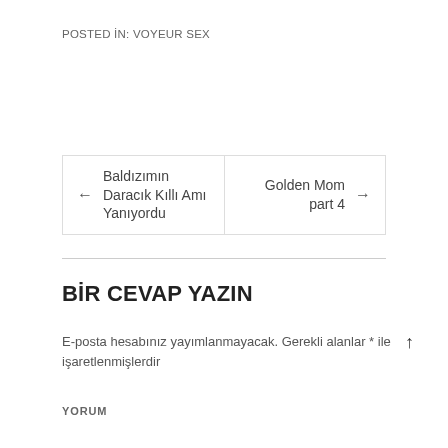POSTED İN: VOYEUR SEX
← Baldızımın Daracık Kıllı Amı Yanıyordu   Golden Mom part 4 →
BİR CEVAP YAZIN
E-posta hesabınız yayımlanmayacak. Gerekli alanlar * ile işaretlenmişlerdir
YORUM